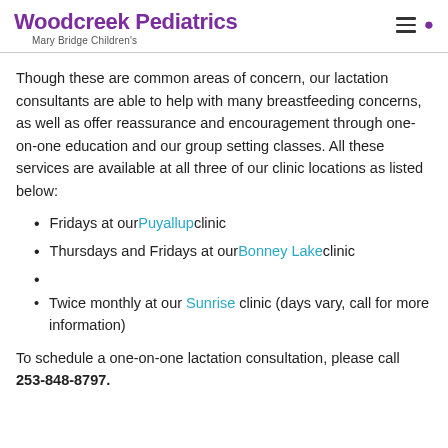Woodcreek Pediatrics Mary Bridge Children's
Though these are common areas of concern, our lactation consultants are able to help with many breastfeeding concerns, as well as offer reassurance and encouragement through one-on-one education and our group setting classes. All these services are available at all three of our clinic locations as listed below:
Fridays at our Puyallup clinic
Thursdays and Fridays at our Bonney Lake clinic
Twice monthly at our Sunrise clinic (days vary, call for more information)
To schedule a one-on-one lactation consultation, please call 253-848-8797.